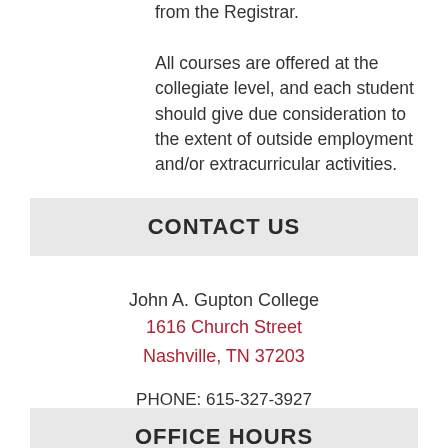from the Registrar.

All courses are offered at the collegiate level, and each student should give due consideration to the extent of outside employment and/or extracurricular activities.
CONTACT US
John A. Gupton College
1616 Church Street
Nashville, TN 37203

PHONE: 615-327-3927
FAX: 615-321-4518
EMAIL ADMISSIONS
OFFICE HOURS